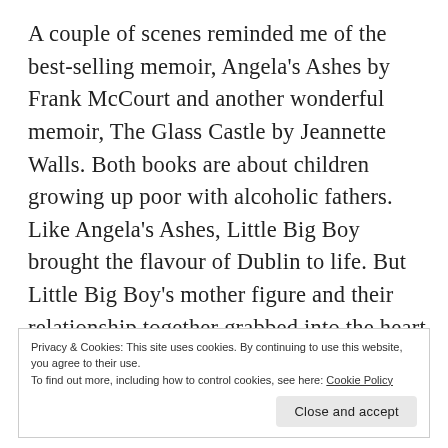A couple of scenes reminded me of the best-selling memoir, Angela's Ashes by Frank McCourt and another wonderful memoir, The Glass Castle by Jeannette Walls. Both books are about children growing up poor with alcoholic fathers. Like Angela's Ashes, Little Big Boy brought the flavour of Dublin to life. But Little Big Boy's mother figure and their relationship together grabbed into the heart of this mother. With that comparison, as a mother of two boys, I'd have to say Little Big Boy struck a greater chord with me. That difference in
Privacy & Cookies: This site uses cookies. By continuing to use this website, you agree to their use.
To find out more, including how to control cookies, see here: Cookie Policy
Close and accept